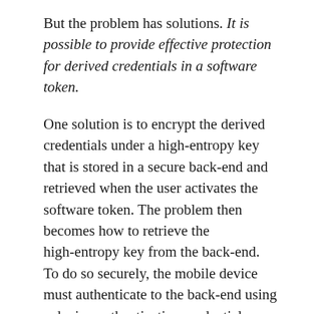But the problem has solutions. It is possible to provide effective protection for derived credentials in a software token.
One solution is to encrypt the derived credentials under a high-entropy key that is stored in a secure back-end and retrieved when the user activates the software token. The problem then becomes how to retrieve the high-entropy key from the back-end. To do so securely, the mobile device must authenticate to the back-end using a device-authentication credential stored in the mobile device, which seems to bring us back to square one. However, there is a difference between the device-authentication credential and the derived